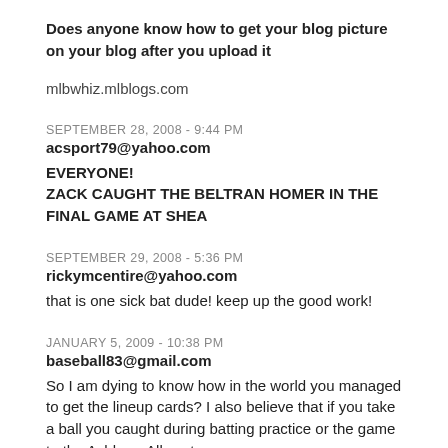Does anyone know how to get your blog picture on your blog after you upload it
mlbwhiz.mlblogs.com
SEPTEMBER 28, 2008 - 9:44 PM
acsport79@yahoo.com
EVERYONE!
ZACK CAUGHT THE BELTRAN HOMER IN THE FINAL GAME AT SHEA
SEPTEMBER 29, 2008 - 5:36 PM
rickymcentire@yahoo.com
that is one sick bat dude! keep up the good work!
JANUARY 5, 2009 - 10:38 PM
baseball83@gmail.com
So I am dying to know how in the world you managed to get the lineup cards? I also believe that if you take a ball you caught during batting practice or the game to the Ashburn Alley store